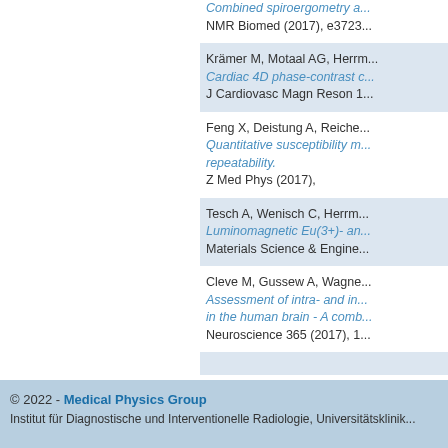Combined spiroergometry a... NMR Biomed (2017), e3723...
Krämer M, Motaal AG, Herrm... Cardiac 4D phase-contrast c... J Cardiovasc Magn Reson 1...
Feng X, Deistung A, Reiche... Quantitative susceptibility m... repeatability. Z Med Phys (2017),
Tesch A, Wenisch C, Herrm... Luminomagnetic Eu(3+)- an... Materials Science & Engine...
Cleve M, Gussew A, Wagne... Assessment of intra- and in... in the human brain - A comb... Neuroscience 365 (2017), 1...
Zuletzt geändert: 23.03.2017 (18:23)
© 2022 - Medical Physics Group
Institut für Diagnostische und Interventionelle Radiologie, Universitätsklinik...